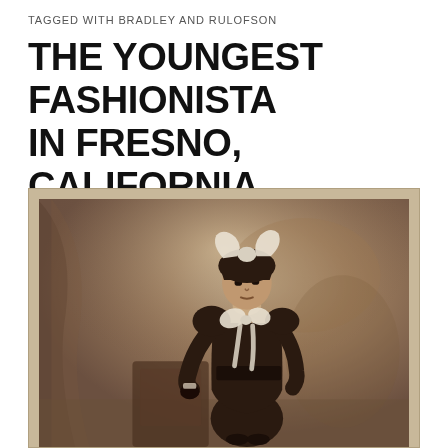TAGGED WITH BRADLEY AND RULOFSON
THE YOUNGEST FASHIONISTA IN FRESNO, CALIFORNIA
[Figure (photo): Sepia-toned antique cabinet card photograph of a young girl dressed in Victorian-era clothing. She wears a dark dress with puffed sleeves and a wide belt, a large white bow on her head, and a white ribbon bow at her neck/chest. She stands beside what appears to be a piece of furniture. The background is a painted studio backdrop with draped fabric. The photo has the characteristic cream/tan border of a cabinet card.]